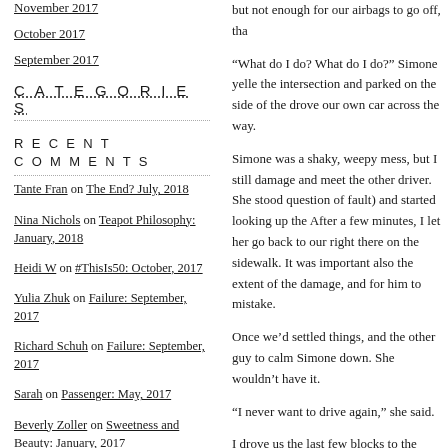November 2017
October 2017
September 2017
CATEGORIES
RECENT COMMENTS
Tante Fran on The End? July, 2018
Nina Nichols on Teapot Philosophy: January, 2018
Heidi W on #ThisIs50: October, 2017
Yulia Zhuk on Failure: September, 2017
Richard Schuh on Failure: September, 2017
Sarah on Passenger: May, 2017
Beverly Zoller on Sweetness and Beauty: January, 2017
Madeline Cohen on Sweetness and Beauty: January, 2017
but not enough for our airbags to go off, tha
“What do I do? What do I do?” Simone yelle the intersection and parked on the side of the drove our own car across the way.
Simone was a shaky, weepy mess, but I still damage and meet the other driver. She stood question of fault) and started looking up the After a few minutes, I let her go back to our right there on the sidewalk. It was important also the extent of the damage, and for him to mistake.
Once we’d settled things, and the other guy to calm Simone down. She wouldn’t have it.
“I never want to drive again,” she said.
I drove us the last few blocks to the Chinese eventually coaxed Simone out of the car and knew we both needed comfort food in our be drop soup and beef with broccoli in relative s made it through her veil of shock and fear ar our sad vehicle, with the hood stove in, and s